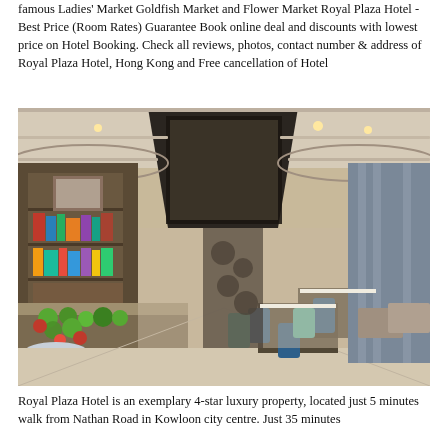famous Ladies' Market Goldfish Market and Flower Market Royal Plaza Hotel - Best Price (Room Rates) Guarantee Book online deal and discounts with lowest price on Hotel Booking. Check all reviews, photos, contact number & address of Royal Plaza Hotel, Hong Kong and Free cancellation of Hotel
[Figure (photo): Interior of the Royal Plaza Hotel showing an elegant dining/lounge area with high ornate ceiling featuring a large decorative chandelier, bookshelves on the left wall, blue upholstered chairs and dining tables, light-colored curtains on the right, and a fruit display counter in the foreground.]
Royal Plaza Hotel is an exemplary 4-star luxury property, located just 5 minutes walk from Nathan Road in Kowloon city centre. Just 35 minutes